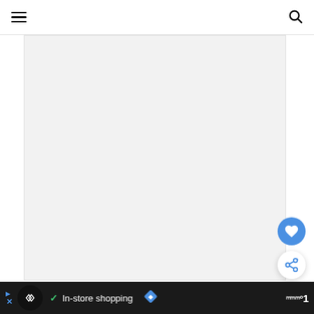Navigation header with hamburger menu and search icon
[Figure (other): Large light gray content placeholder area]
[Figure (other): Blue circular favorite/heart button (FAB)]
[Figure (other): White circular share button (FAB)]
[Figure (other): Advertisement banner: Infinity Ads logo, checkmark, 'In-store shopping' text, blue diamond navigation icon, and right-side logo text]